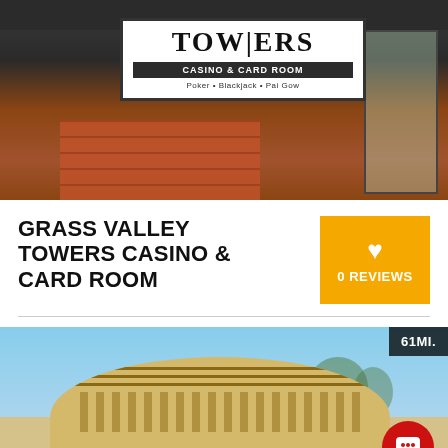[Figure (photo): Exterior photo of Towers Casino & Card Room sign showing white sign with black text, brick building, dark ceiling overhang]
GRASS VALLEY TOWERS CASINO & CARD ROOM
0 REVIEWS
[Figure (photo): Exterior photo of Win-River Casino showing a large round Native American basket-style architectural feature on the building roofline against a blue sky, with 61MI. distance badge]